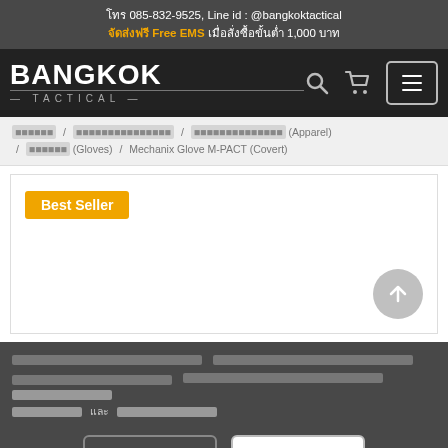โทร 085-832-9525, Line id : @bangkoktactical จัดส่งฟรี Free EMS เมื่อสั่งซื้อขั้นต่ำ 1,000 บาท
[Figure (logo): Bangkok Tactical logo with search, cart, and menu icons on dark nav bar]
หน้าแรก / เสื้อผ้าและเครื่องแต่งกาย / เสื้อผ้าและอุปกรณ์ (Apparel) / ถุงมือ (Gloves) / Mechanix Glove M-PACT (Covert)
[Figure (screenshot): Product image area with Best Seller badge and scroll-up button]
นโยบายความเป็นส่วนตัว เว็บไซต์ของเราใช้คุกกี้เพื่อพัฒนาประสิทธิภาพ และประสบการณ์ที่ดีในการใช้เว็บไซต์ของคุณ นโยบายความเป็นส่วนตัว และ คุกกี้ที่เราใช้
ยอมรับทั้งหมด / ปฏิเสธทั้งหมด